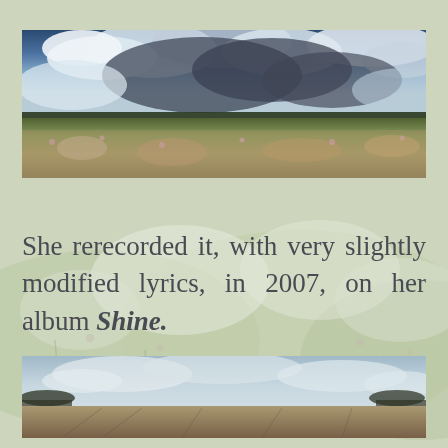[Figure (photo): Panoramic landscape photo showing a wide meadow with wildflowers and tall grasses in the foreground, a line of trees on the horizon, and a dramatic sky with large dark and white clouds above.]
She rerecorded it, with very slightly modified lyrics, in 2007, on her album Shine.
[Figure (photo): Panoramic landscape photo showing flat plowed agricultural fields under a pale overcast sky with light clouds, trees visible on the distant horizon at the edges.]